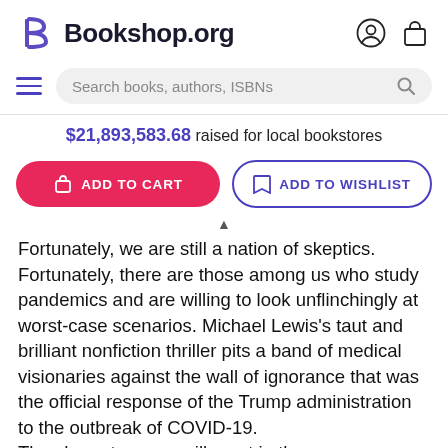Bookshop.org
$21,893,583.68 raised for local bookstores
ADD TO CART | ADD TO WISHLIST
Fortunately, we are still a nation of skeptics. Fortunately, there are those among us who study pandemics and are willing to look unflinchingly at worst-case scenarios. Michael Lewis's taut and brilliant nonfiction thriller pits a band of medical visionaries against the wall of ignorance that was the official response of the Trump administration to the outbreak of COVID-19. The characters you will meet in these pages are as fascinating as they are unexpected. A thirteen-year-old